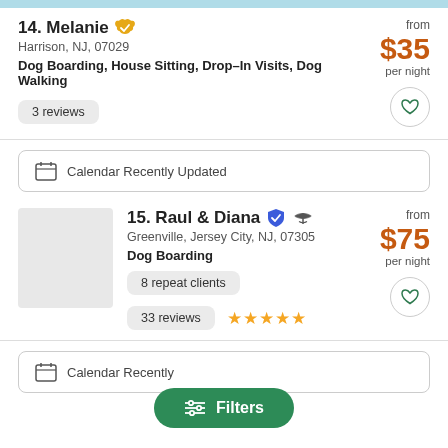14. Melanie — Harrison, NJ, 07029 — Dog Boarding, House Sitting, Drop-In Visits, Dog Walking — from $35 per night — 3 reviews
Calendar Recently Updated
15. Raul & Diana — Greenville, Jersey City, NJ, 07305 — Dog Boarding — from $75 per night — 8 repeat clients — 33 reviews (5 stars)
Calendar Recently Updated
Filters